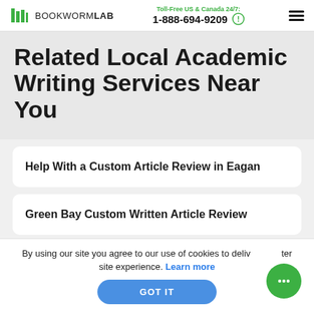BOOKWORMLAB | Toll-Free US & Canada 24/7: 1-888-694-9209
Related Local Academic Writing Services Near You
Help With a Custom Article Review in Eagan
Green Bay Custom Written Article Review
Columbia Article Review
By using our site you agree to our use of cookies to deliver a better site experience. Learn more
GOT IT